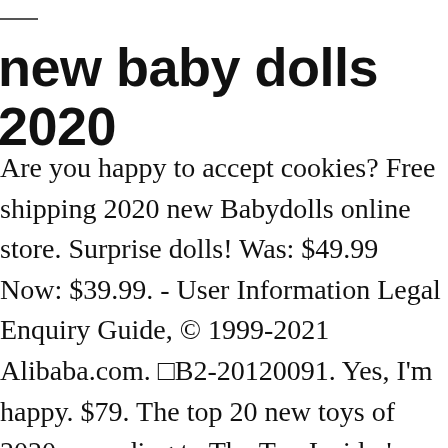new baby dolls 2020
Are you happy to accept cookies? Free shipping 2020 new Babydolls online store. Surprise dolls! Was: $49.99 Now: $39.99. - User Information Legal Enquiry Guide, © 1999-2021 Alibaba.com. □B2-20120091. Yes, I'm happy. $79. The top 20 new toys of 2020 according to The Toy Insider's yearly list — find gifts for kids of all ages, like Legos, dolls, Baby Yoda figures, and more. Textile Empathy Baby, Accessories (3) Playset (1) Age